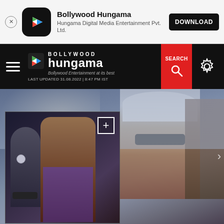[Figure (screenshot): App install banner for Bollywood Hungama app showing close button, app icon, app name, developer name, and download button]
Bollywood Hungama
Hungama Digital Media Entertainment Pvt. Ltd.
[Figure (screenshot): Bollywood Hungama website navigation bar with hamburger menu, logo, search button, and settings icon. Shows LAST UPDATED 31.08.2022 | 8:47 PM IST]
LAST UPDATED 31.08.2022 | 8:47 PM IST
[Figure (photo): Movie poster showing actors in police uniforms and sunglasses, appears to be a Bollywood film promotional image with a smaller thumbnail overlay on the left side]